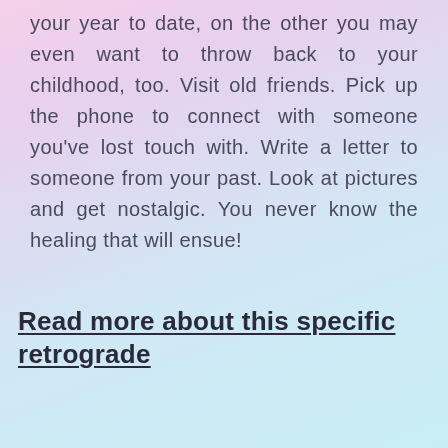your year to date, on the other you may even want to throw back to your childhood, too. Visit old friends. Pick up the phone to connect with someone you've lost touch with. Write a letter to someone from your past. Look at pictures and get nostalgic. You never know the healing that will ensue!
Read more about this specific retrograde
[Figure (photo): A tablet device displaying 'Madi Murphy's Guide' on a pink screen, flanked by a card on the left with text 'RUN TO...' and a pink element on the right, all on a pastel gradient background.]